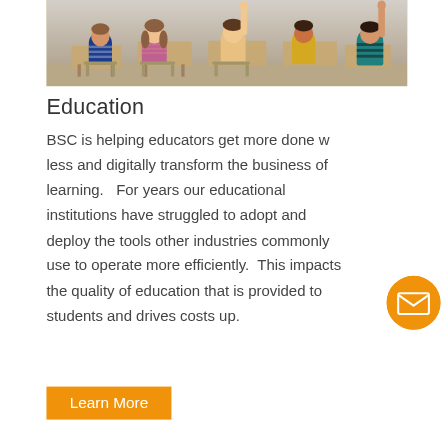[Figure (photo): Classroom photo showing students at desks with hands raised, viewed from behind, in a bright school classroom setting.]
Education
BSC is helping educators get more done with less and digitally transform the business of learning.   For years our educational institutions have struggled to adopt and deploy the tools other industries commonly use to operate more efficiently.  This impacts the quality of education that is provided to students and drives costs up.
[Figure (other): Orange circular email/envelope icon button (floating action button)]
Learn More